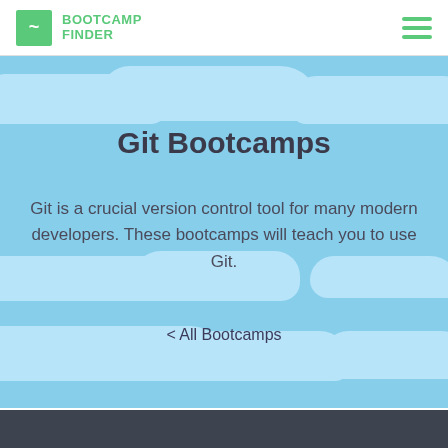~ BOOTCAMP FINDER
Git Bootcamps
Git is a crucial version control tool for many modern developers. These bootcamps will teach you to use Git.
< All Bootcamps